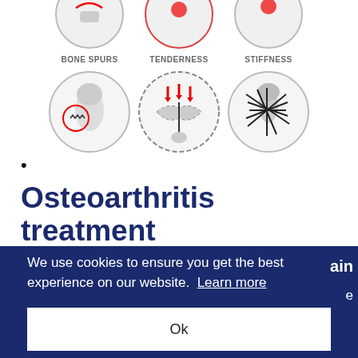[Figure (infographic): Medical infographic showing three symptoms of osteoarthritis in circular icons: Bone Spurs (circle with zigzag/bone spur illustration in red), Tenderness (circle with joint and red downward arrows), Stiffness (circle with joint crossed by black lines). Above these circles are partial circles from the row above. Labels BONE SPURS, TENDERNESS, STIFFNESS appear between the two rows.]
•
Osteoarthritis treatment
We use cookies to ensure you get the best experience on our website.  Learn more
Ok